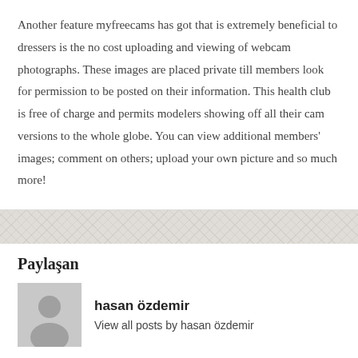Another feature myfreecams has got that is extremely beneficial to dressers is the no cost uploading and viewing of webcam photographs. These images are placed private till members look for permission to be posted on their information. This health club is free of charge and permits modelers showing off all their cam versions to the whole globe. You can view additional members' images; comment on others; upload your own picture and so much more!
Paylaşan
hasan özdemir
View all posts by hasan özdemir
← PREV POST    NEXT POST →